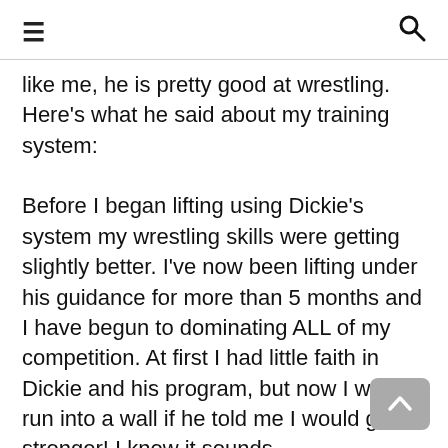≡  🔍
like me, he is pretty good at wrestling. Here's what he said about my training system:

Before I began lifting using Dickie's system my wrestling skills were getting slightly better. I've now been lifting under his guidance for more than 5 months and I have begun to dominating ALL of my competition. At first I had little faith in Dickie and his program, but now I would run into a wall if he told me I would get stronger! I know it sounds